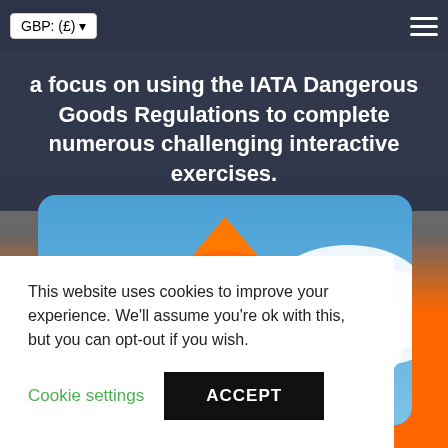GBP: (£) ▾
a focus on using the IATA Dangerous Goods Regulations to complete numerous challenging interactive exercises.
[Figure (logo): DG logo with orange diamond shapes against a blue sky with clouds background, inside a rounded card]
This website uses cookies to improve your experience. We'll assume you're ok with this, but you can opt-out if you wish.
Cookie settings   ACCEPT